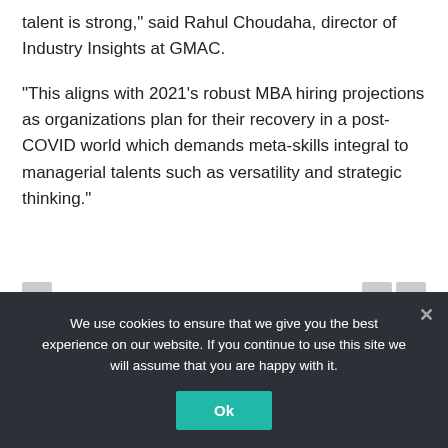talent is strong," said Rahul Choudaha, director of Industry Insights at GMAC.
“This aligns with 2021’s robust MBA hiring projections as organizations plan for their recovery in a post-COVID world which demands meta-skills integral to managerial talents such as versatility and strategic thinking.”
We use cookies to ensure that we give you the best experience on our website. If you continue to use this site we will assume that you are happy with it.